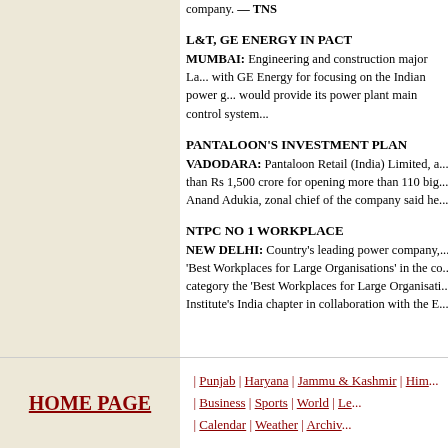company. — TNS
L&T, GE ENERGY IN PACT
MUMBAI: Engineering and construction major L... with GE Energy for focusing on the Indian power g... would provide its power plant main control system...
PANTALOON'S INVESTMENT PLAN
VADODARA: Pantaloon Retail (India) Limited, a... than Rs 1,500 crore for opening more than 110 big... Anand Adukia, zonal chief of the company said he...
NTPC NO 1 WORKPLACE
NEW DELHI: Country's leading power company,... 'Best Workplaces for Large Organisations' in the co... category the 'Best Workplaces for Large Organisati... Institute's India chapter in collaboration with the E...
HOME PAGE | Punjab | Haryana | Jammu & Kashmir | Him... | Business | Sports | World | Le... | Calendar | Weather | Archiv...